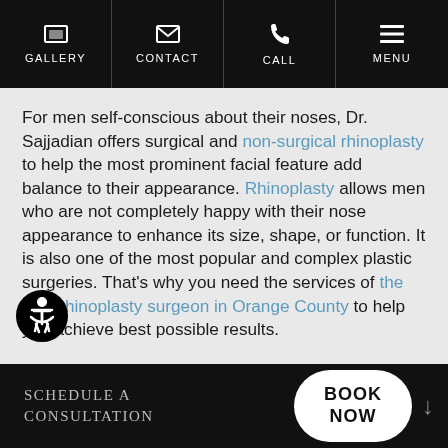GALLERY | CONTACT | CALL | MENU
For men self-conscious about their noses, Dr. Sajjadian offers surgical and non-surgical rhinoplasty to help the most prominent facial feature add balance to their appearance. Rhinoplasty allows men who are not completely happy with their nose appearance to enhance its size, shape, or function. It is also one of the most popular and complex plastic surgeries. That's why you need the services of the best rhinoplasty surgeon in Orange County to help you achieve best possible results.
SCHEDULE A CONSULTATION
BOOK NOW